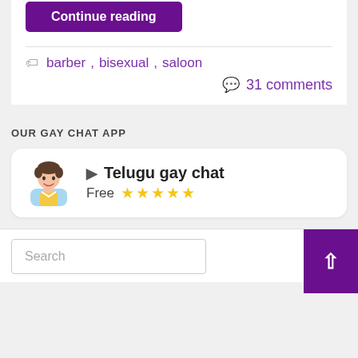Continue reading
barber, bisexual, saloon
31 comments
OUR GAY CHAT APP
[Figure (infographic): App card showing a cartoon character icon, play triangle, title 'Telugu gay chat', 'Free' label with five yellow stars]
Search